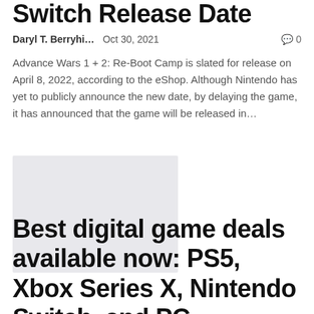Switch Release Date
Daryl T. Berryhi…   Oct 30, 2021   💬 0
Advance Wars 1 + 2: Re-Boot Camp is slated for release on April 8, 2022, according to the eShop. Although Nintendo has yet to publicly announce the new date, by delaying the game, it has announced that the game will be released in…
[Figure (photo): Thumbnail image placeholder (light gray rectangle)]
Best digital game deals available now: PS5, Xbox Series X, Nintendo Switch, and PC